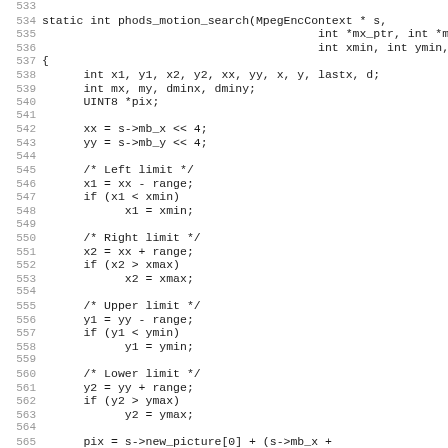[Figure (screenshot): Source code listing in C showing the function phods_motion_search with line numbers 533-565. The code shows variable declarations, bit shift operations, and boundary limit checks (left, right, upper, lower) using range, xmin, xmax, ymin, ymax variables.]